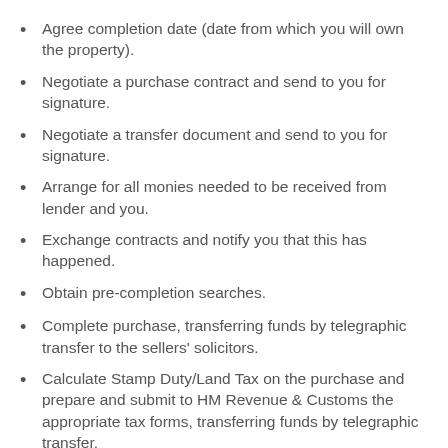Agree completion date (date from which you will own the property).
Negotiate a purchase contract and send to you for signature.
Negotiate a transfer document and send to you for signature.
Arrange for all monies needed to be received from lender and you.
Exchange contracts and notify you that this has happened.
Obtain pre-completion searches.
Complete purchase, transferring funds by telegraphic transfer to the sellers' solicitors.
Calculate Stamp Duty/Land Tax on the purchase and prepare and submit to HM Revenue & Customs the appropriate tax forms, transferring funds by telegraphic transfer.
Deal with application for registration at Land Registry.